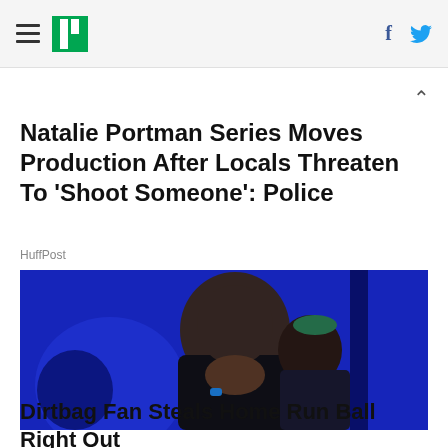HuffPost navigation with hamburger menu, logo, Facebook and Twitter icons
Natalie Portman Series Moves Production After Locals Threaten To 'Shoot Someone': Police
HuffPost
[Figure (photo): Two people on a blue-lit stage, one leaning in close to the other, blue circular set design in background]
Dirtbag Fan Steals Home Run Ball Right Out Of...